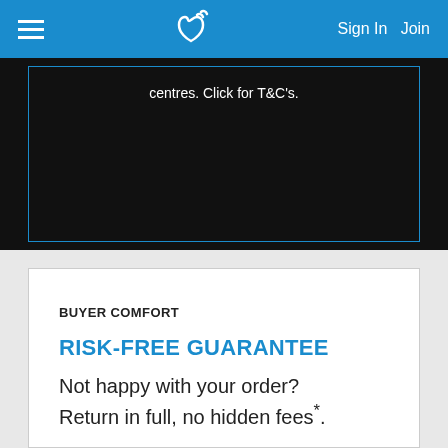Sign In  Join
centres. Click for T&C's.
BUYER COMFORT
RISK-FREE GUARANTEE
Not happy with your order? Return in full, no hidden fees*.
[Figure (logo): Tyresales Risk Free Guarantee shield badge logo]